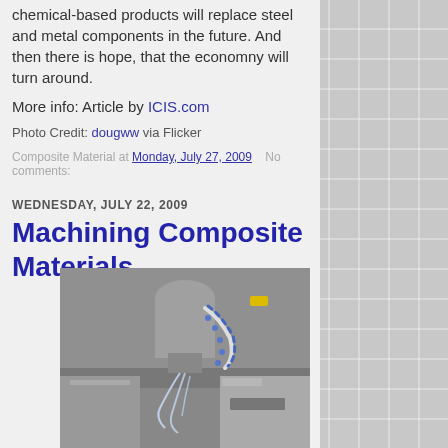chemical-based products will replace steel and metal components in the future. And then there is hope, that the economny will turn around.
More info: Article by ICIS.com
Photo Credit: dougww via Flicker
Composite Material at Monday, July 27, 2009   No comments:
WEDNESDAY, JULY 22, 2009
Machining Composite Materials
[Figure (photo): A machining operation on composite materials, showing a cutting tool with coolant fluid spraying, mounted on a machine with metal components visible]